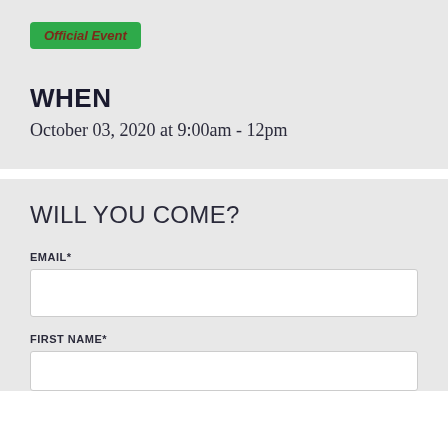Official Event
WHEN
October 03, 2020 at 9:00am - 12pm
WILL YOU COME?
EMAIL*
FIRST NAME*